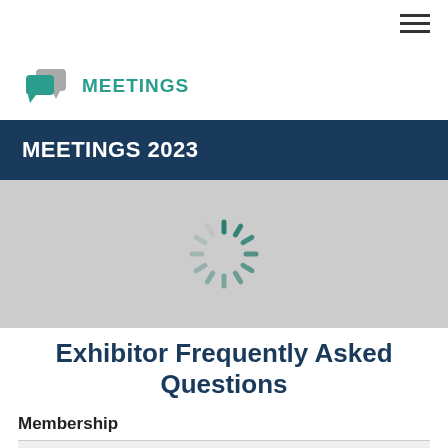MEETINGS
MEETINGS 2023
[Figure (other): Loading spinner icon (teal colored radial dashes in a circle pattern) on a gray background]
Exhibitor Frequently Asked Questions
Membership
What is my BEIA membership level?